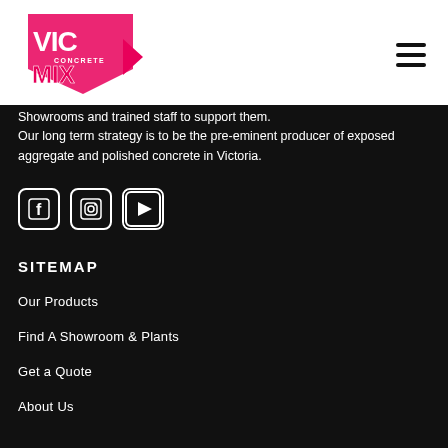[Figure (logo): VIC Concrete Max logo in pink/red on white background]
Showrooms and trained staff to support them. Our long term strategy is to be the pre-eminent producer of exposed aggregate and polished concrete in Victoria.
[Figure (infographic): Social media icons: Facebook, Instagram, YouTube]
SITEMAP
Our Products
Find A Showroom & Plants
Get a Quote
About Us